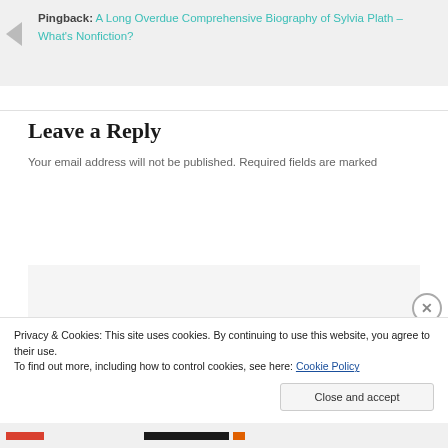Pingback: A Long Overdue Comprehensive Biography of Sylvia Plath – What's Nonfiction?
Leave a Reply
Your email address will not be published. Required fields are marked
[Figure (screenshot): Empty comment textarea input field with light grey background]
Privacy & Cookies: This site uses cookies. By continuing to use this website, you agree to their use.
To find out more, including how to control cookies, see here: Cookie Policy
Close and accept